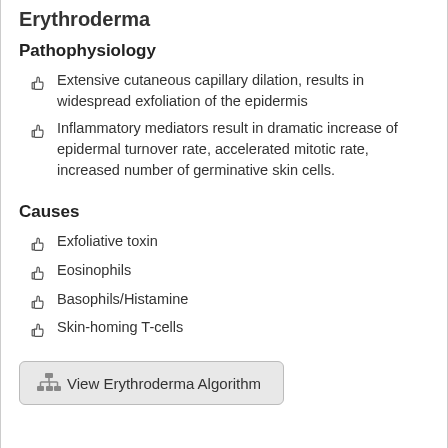Erythroderma
Pathophysiology
Extensive cutaneous capillary dilation, results in widespread exfoliation of the epidermis
Inflammatory mediators result in dramatic increase of epidermal turnover rate, accelerated mitotic rate, increased number of germinative skin cells.
Causes
Exfoliative toxin
Eosinophils
Basophils/Histamine
Skin-homing T-cells
[Figure (other): Button/link: View Erythroderma Algorithm with org-chart icon]